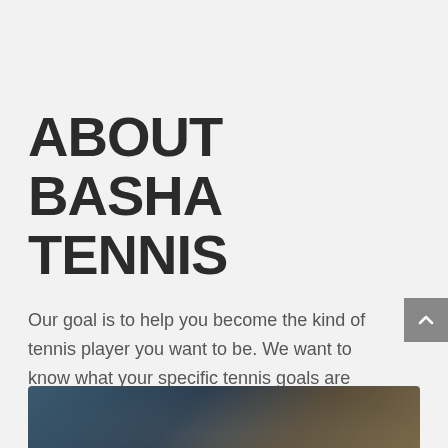ABOUT BASHA TENNIS
Our goal is to help you become the kind of tennis player you want to be. We want to know what your specific tennis goals are and how we can best help you accomplish them.
LEARN MORE
[Figure (photo): Bottom portion of a photo, partially visible, appears to show tennis-related imagery with dark tones]